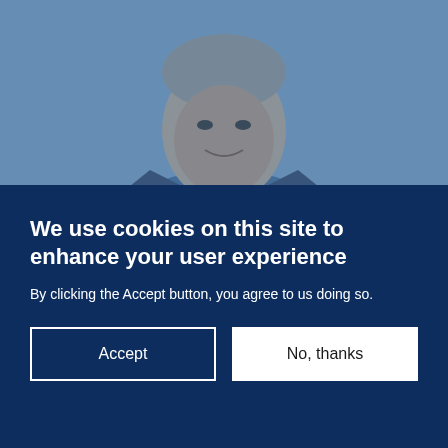[Figure (photo): Portrait photo of a middle-aged man in a suit, displayed with a blue color overlay tint. The background is light blue.]
We use cookies on this site to enhance your user experience
By clicking the Accept button, you agree to us doing so.
Accept
No, thanks